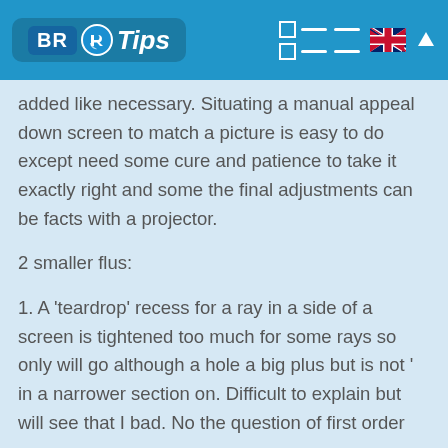BR Tips
added like necessary. Situating a manual appeal down screen to match a picture is easy to do except need some cure and patience to take it exactly right and some the final adjustments can be facts with a projector.
2 smaller flus:
1. A 'teardrop' recess for a ray in a side of a screen is tightened too much for some rays so only will go although a hole a big plus but is not ' in a narrower section on. Difficult to explain but will see that I bad. No the question of first order